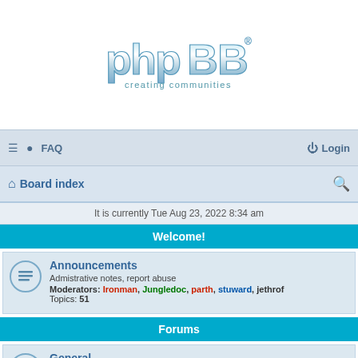[Figure (logo): phpBB logo — 'phpBB® creating communities' in chrome/blue metallic lettering]
≡  FAQ    Login
⌂ Board index   🔍
It is currently Tue Aug 23, 2022 8:34 am
Welcome!
| Announcements | Admistrative notes, report abuse | Moderators: Ironman, Jungledoc, parth, stuward, jethrof | Topics: 51 |
Forums
| General | Ask or answer questions, discuss and express your views | Moderators: Ironman, Jungledoc, parth, stuward, jethrof |